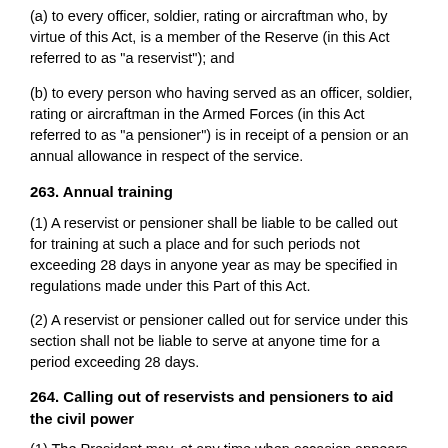(a) to every officer, soldier, rating or aircraftman who, by virtue of this Act, is a member of the Reserve (in this Act referred to as "a reservist"); and
(b) to every person who having served as an officer, soldier, rating or aircraftman in the Armed Forces (in this Act referred to as "a pensioner") is in receipt of a pension or an annual allowance in respect of the service.
263. Annual training
(1) A reservist or pensioner shall be liable to be called out for training at such a place and for such periods not exceeding 28 days in anyone year as may be specified in regulations made under this Part of this Act.
(2) A reservist or pensioner called out for service under this section shall not be liable to serve at anyone time for a period exceeding 28 days.
264. Calling out of reservists and pensioners to aid the civil power
(1) The President may, at any time when occasion appears to require it, call out reservists and pensioners or as many of